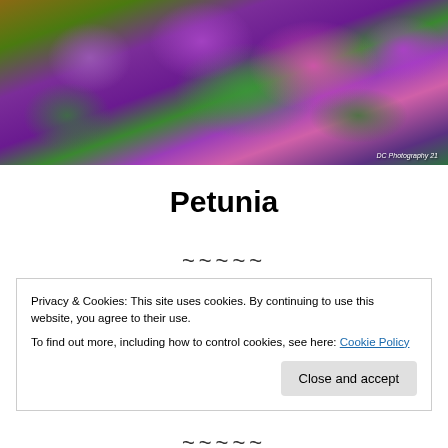[Figure (photo): Close-up photograph of purple and magenta petunia flowers with green leaves. Watermark reads 'DC Photography 21' in bottom right corner.]
Petunia
~~~~~
Privacy & Cookies: This site uses cookies. By continuing to use this website, you agree to their use.
To find out more, including how to control cookies, see here: Cookie Policy
[Close and accept]
~~~~~